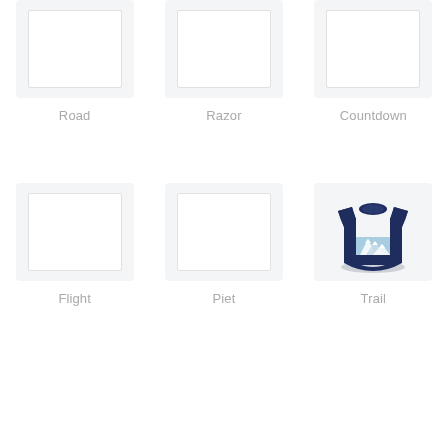[Figure (photo): Product thumbnail placeholder image for Road]
Road
[Figure (photo): Product thumbnail placeholder image for Razor]
Razor
[Figure (photo): Product thumbnail placeholder image for Countdown]
Countdown
[Figure (photo): Product thumbnail placeholder image for Flight]
Flight
[Figure (photo): Product thumbnail placeholder image for Piet]
Piet
[Figure (photo): Navy blue t-shirt with mountain graphic design - Trail product]
Trail